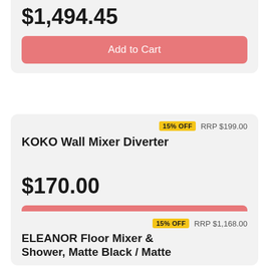$1,494.45
Add to Cart
15% OFF  RRP $199.00
KOKO Wall Mixer Diverter
$170.00
Add to Cart
15% OFF  RRP $1,168.00
ELEANOR Floor Mixer & Shower, Matte Black / Matte